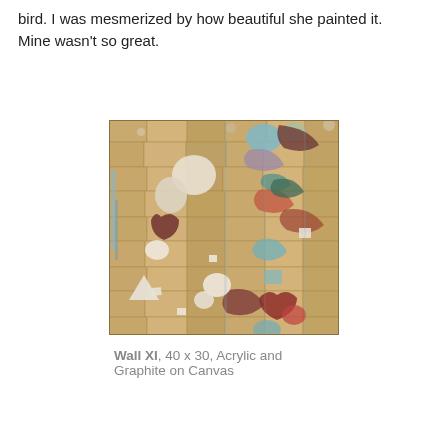bird. I was mesmerized by how beautiful she painted it. Mine wasn't so great.
[Figure (photo): Abstract painting titled 'Wall XI' — a large mixed-media artwork featuring a grid-like mosaic of warm golden/tan rectangular shapes interspersed with colorful irregular splotches of blue, red, brown, maroon, white, and green on canvas. The composition has an abstract wall-like structure with overlapping organic forms.]
Wall XI, 40 x 30, Acrylic and Graphite on Canvas